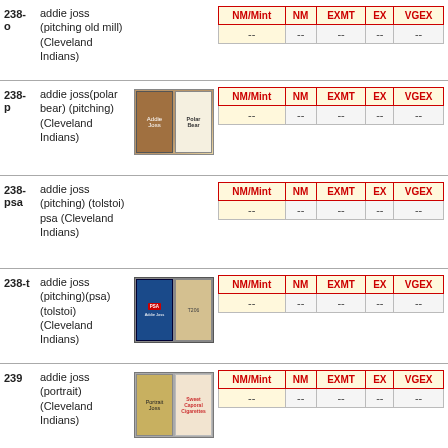238-o  addie joss (pitching old mill) (Cleveland Indians)
| NM/Mint | NM | EXMT | EX | VGEX |
| --- | --- | --- | --- | --- |
| -- | -- | -- | -- | -- |
238-p  addie joss(polar bear) (pitching) (Cleveland Indians)
| NM/Mint | NM | EXMT | EX | VGEX |
| --- | --- | --- | --- | --- |
| -- | -- | -- | -- | -- |
238-psa  addie joss (pitching) (tolstoi) psa (Cleveland Indians)
| NM/Mint | NM | EXMT | EX | VGEX |
| --- | --- | --- | --- | --- |
| -- | -- | -- | -- | -- |
238-t  addie joss (pitching)(psa) (tolstoi) (Cleveland Indians)
| NM/Mint | NM | EXMT | EX | VGEX |
| --- | --- | --- | --- | --- |
| -- | -- | -- | -- | -- |
239  addie joss (portrait) (Cleveland Indians)
| NM/Mint | NM | EXMT | EX | VGEX |
| --- | --- | --- | --- | --- |
| -- | -- | -- | -- | -- |